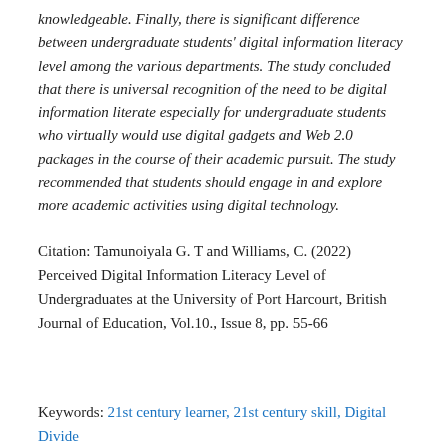knowledgeable. Finally, there is significant difference between undergraduate students' digital information literacy level among the various departments. The study concluded that there is universal recognition of the need to be digital information literate especially for undergraduate students who virtually would use digital gadgets and Web 2.0 packages in the course of their academic pursuit. The study recommended that students should engage in and explore more academic activities using digital technology.
Citation: Tamunoiyala G. T and Williams, C. (2022) Perceived Digital Information Literacy Level of Undergraduates at the University of Port Harcourt, British Journal of Education, Vol.10., Issue 8, pp. 55-66
Keywords: 21st century learner, 21st century skill, Digital Divide